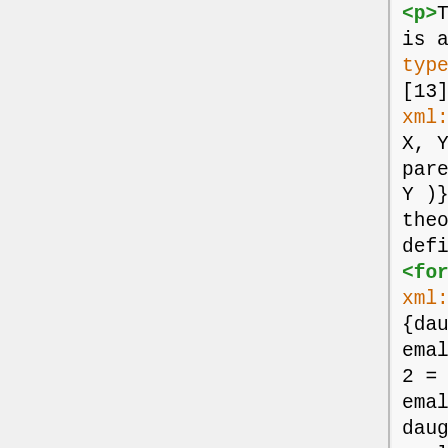<p>The following example is adapted from <ref type="bibr" target="#b12">[13]</ref>. </p><formula xml:id="formula_0">parent(X, Y ) ← mother(X, Y ), parent(X, Y ) ← f ather(X, Y )}</formula><p>Then both theories H 1 and H 2 defined as follows:</p> <formula xml:id="formula_1">H 1 = {daughter(X, Y ) ← f emale(X), parent(Y, X)} H 2 = {daughter(X, Y ) ← f emale(X), mother(Y, X), daughter(X, Y ) ← f emale(X), f ather(Y, X)}</formula><p>are complete and consistent with respect to B and E.</p> </div> <div xmlns="http://www.tei-c.org/ns/1.0"><head